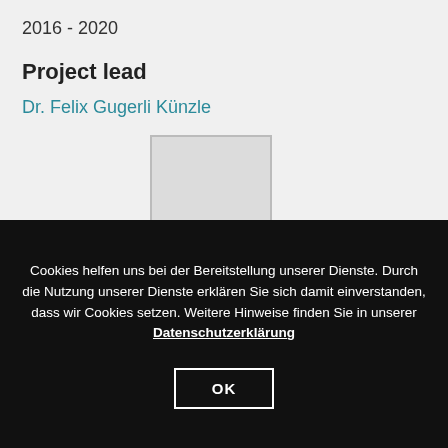2016 - 2020
Project lead
Dr. Felix Gugerli Künzle
[Figure (photo): Placeholder image box for a person photo]
Cookies helfen uns bei der Bereitstellung unserer Dienste. Durch die Nutzung unserer Dienste erklären Sie sich damit einverstanden, dass wir Cookies setzen. Weitere Hinweise finden Sie in unserer Datenschutzerklärung
OK